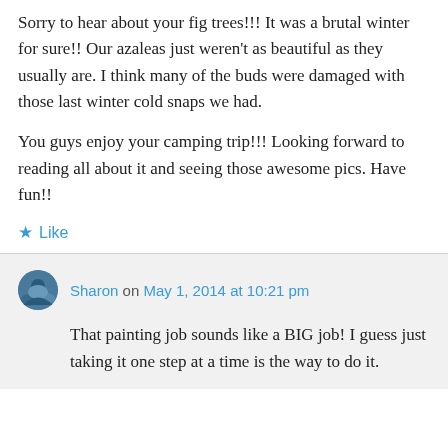Sorry to hear about your fig trees!!! It was a brutal winter for sure!! Our azaleas just weren't as beautiful as they usually are. I think many of the buds were damaged with those last winter cold snaps we had.
You guys enjoy your camping trip!!! Looking forward to reading all about it and seeing those awesome pics. Have fun!!
★ Like
Sharon on May 1, 2014 at 10:21 pm
That painting job sounds like a BIG job! I guess just taking it one step at a time is the way to do it.